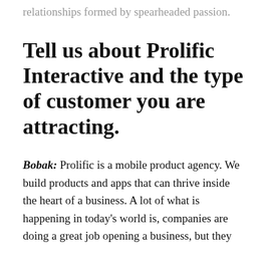but the types of employee and partner relationships formed by spearheaded passion.
Tell us about Prolific Interactive and the type of customer you are attracting.
Bobak: Prolific is a mobile product agency. We build products and apps that can thrive inside the heart of a business. A lot of what is happening in today's world is, companies are doing a great job opening a business, but they